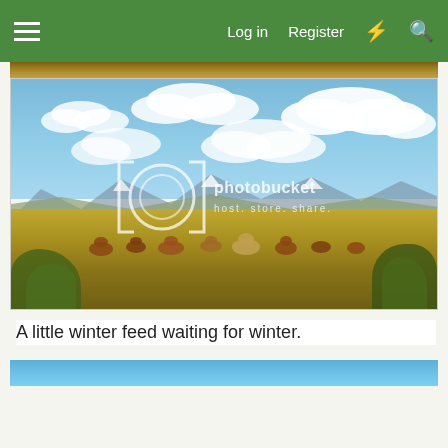≡  Log in  Register  ⚡  🔍
[Figure (photo): Top strip of a previous image showing dry golden-brown grassland/field]
[Figure (photo): Outdoor photo of cattle grazing in a dry golden grassland field with mountains and snow-capped peaks in the background under a partly cloudy blue sky. A Photobucket watermark is overlaid on the center of the image showing the photobucket logo and 'host. store. share.' text.]
A little winter feed waiting for winter.
[Figure (photo): Bottom strip of the next image showing blue sky]